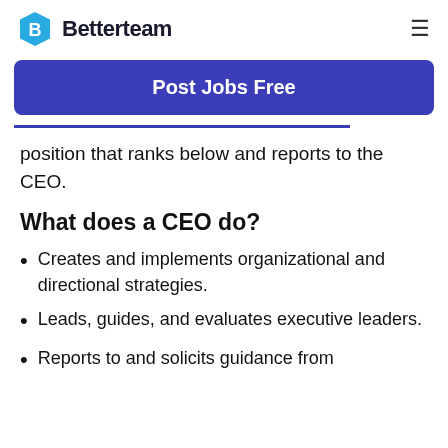Betterteam
[Figure (logo): Betterteam logo with hexagonal blue icon with letter B and bold text 'Betterteam']
Post Jobs Free
position that ranks below and reports to the CEO.
What does a CEO do?
Creates and implements organizational and directional strategies.
Leads, guides, and evaluates executive leaders.
Reports to and solicits guidance from